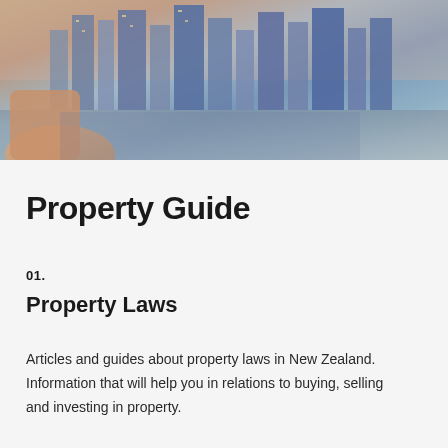[Figure (photo): City skyline with skyscrapers reflected over water, with a hand visible in the foreground, pink and blue dusk tones]
Property Guide
01.
Property Laws
Articles and guides about property laws in New Zealand. Information that will help you in relations to buying, selling and investing in property.